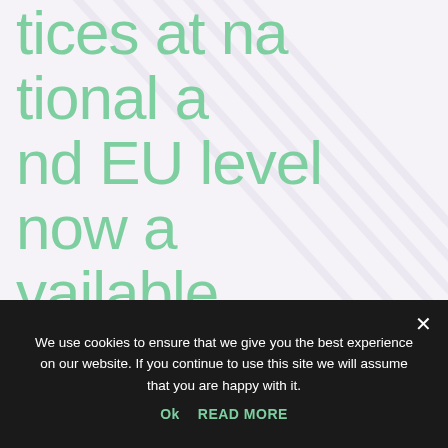tices at national and EU level now available
April 30th, 2022 | Community, News
IMMERSE has launched its online database with more than 100 resources aimed at identifying supportive environments, educational conditions and practical materials addressed to school leaders, teachers, educators, and social professionals involved in the socio-educational integration of refugee and migrant [...]
We use cookies to ensure that we give you the best experience on our website. If you continue to use this site we will assume that you are happy with it. Ok READ MORE